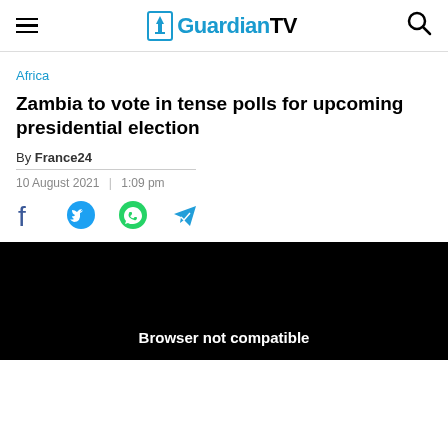GuardianTV
Africa
Zambia to vote in tense polls for upcoming presidential election
By France24
10 August 2021  |  1:09 pm
[Figure (other): Social sharing icons: Facebook, Twitter, WhatsApp, Telegram]
[Figure (other): Video player area showing black background with text 'Browser not compatible']